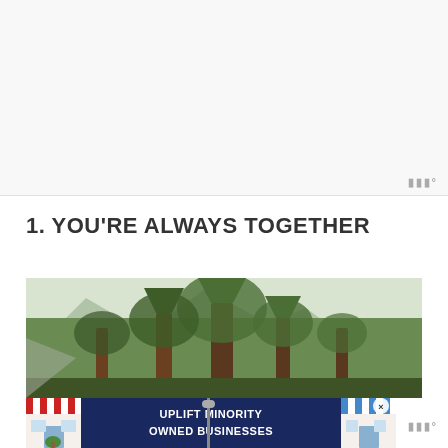[Figure (photo): Blank/white image area at top of page, large whitespace section]
1. YOU'RE ALWAYS TOGETHER
[Figure (photo): Photograph of tall pine/redwood trees in a forest with a rocky mountain visible in the background, mist or overcast sky]
[Figure (infographic): Advertisement banner: 'UPLIFT MINORITY OWNED BUSINESSES' with illustrated storefront icons on left and right, close button (x) visible]